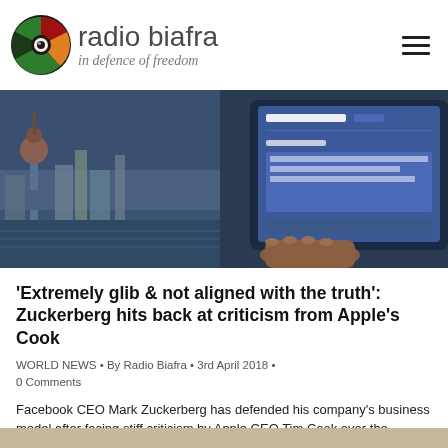radio biafra — in defence of freedom
[Figure (photo): Hero image showing Shanghai skyline with Oriental Pearl Tower on the left and a person using a tablet/phone with Facebook blue screen on the right]
'Extremely glib & not aligned with the truth': Zuckerberg hits back at criticism from Apple's Cook
WORLD NEWS • By Radio Biafra • 3rd April 2018 • 0 Comments
Facebook CEO Mark Zuckerberg has defended his company's business model after facing stiff criticism by Apple CEO Tim Cook over the mishandling and monetization of user data amid the ongoing Cambridge Analytica scandal.
Read Full Article at RT.com
[Figure (photo): Partial bottom image strip, light tan/beige color visible at very bottom of page]